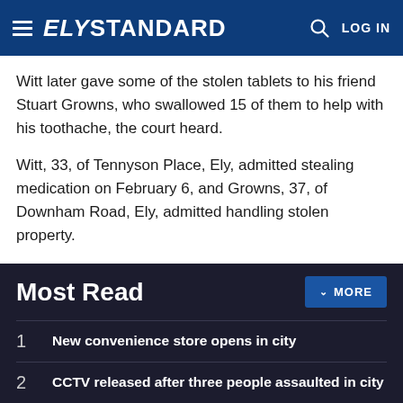ELY STANDARD
Witt later gave some of the stolen tablets to his friend Stuart Growns, who swallowed 15 of them to help with his toothache, the court heard.
Witt, 33, of Tennyson Place, Ely, admitted stealing medication on February 6, and Growns, 37, of Downham Road, Ely, admitted handling stolen property.
The pensioner, who has mobility problems, had needed help with shelves and moving a television, said prosecutor Sally Rose.
Most Read
1  New convenience store opens in city
2  CCTV released after three people assaulted in city